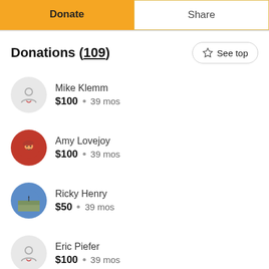Donate | Share
Donations (109)
Mike Klemm · $100 · 39 mos
Amy Lovejoy · $100 · 39 mos
Ricky Henry · $50 · 39 mos
Eric Piefer · $100 · 39 mos